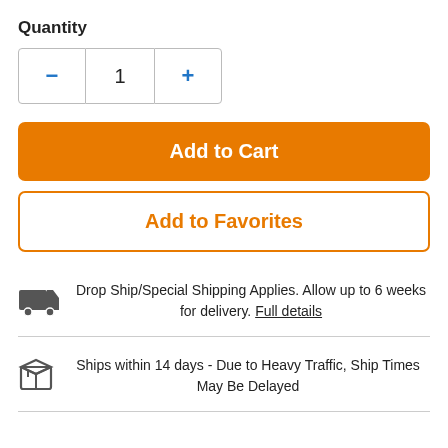Quantity
[Figure (other): Quantity controls with minus button, value '1', and plus button]
Add to Cart
Add to Favorites
Drop Ship/Special Shipping Applies. Allow up to 6 weeks for delivery. Full details
Ships within 14 days - Due to Heavy Traffic, Ship Times May Be Delayed